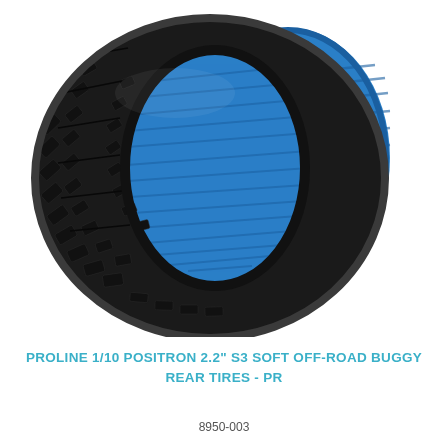[Figure (photo): RC buggy tire — Pro-Line Positron 2.2 inch with black knobby tread pattern on the outside and bright blue foam insert visible through the open rim side. The tire is slightly angled showing both the tread face and the blue foam interior.]
PROLINE 1/10 POSITRON 2.2" S3 SOFT OFF-ROAD BUGGY REAR TIRES - PR
8950-003